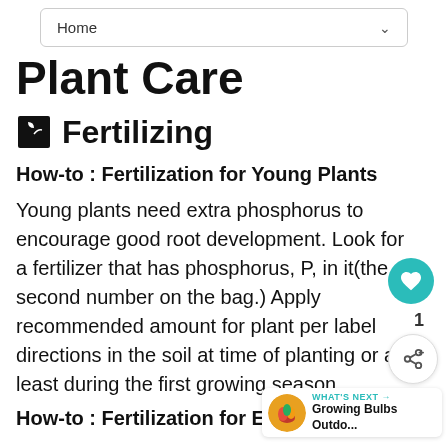Home
Plant Care
Fertilizing
How-to : Fertilization for Young Plants
Young plants need extra phosphorus to encourage good root development. Look for a fertilizer that has phosphorus, P, in it(the second number on the bag.) Apply recommended amount for plant per label directions in the soil at time of planting or at least during the first growing season
How-to : Fertilization for Established Plants